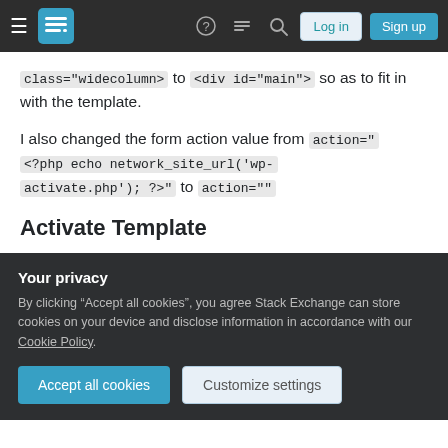Stack Exchange navigation bar with hamburger menu, logo, help, chat, search icons, Log in and Sign up buttons
class="widecolumn> to <div id="main"> so as to fit in with the template.
I also changed the form action value from action="<?php echo network_site_url('wp-activate.php'); ?>" to action=""
Activate Template
In the Activate template, I copied the code from wp-activate.php and removed the following lines from
Your privacy
By clicking “Accept all cookies”, you agree Stack Exchange can store cookies on your device and disclose information in accordance with our Cookie Policy.
Accept all cookies
Customize settings